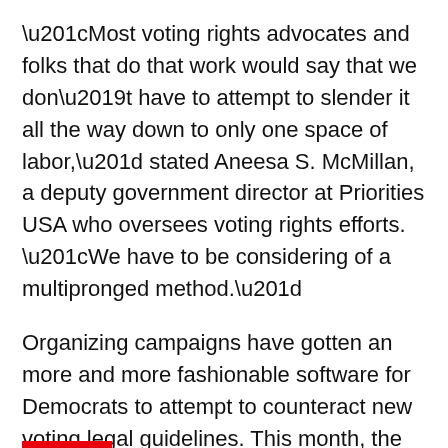“Most voting rights advocates and folks that do that work would say that we don’t have to attempt to slender it all the way down to only one space of labor,” stated Aneesa S. McMillan, a deputy government director at Priorities USA who oversees voting rights efforts. “We have to be considering of a multipronged method.”
Organizing campaigns have gotten an more and more fashionable software for Democrats to attempt to counteract new voting legal guidelines. This month, the Texas Democratic Get together introduced the biggest voter registration push in its historical past, aiming to register two million new voters and investing about $14 million within the effort.
Along with informing voters, an necessary element of the digital effort by Priorities USA can be preventing voting disinformation.